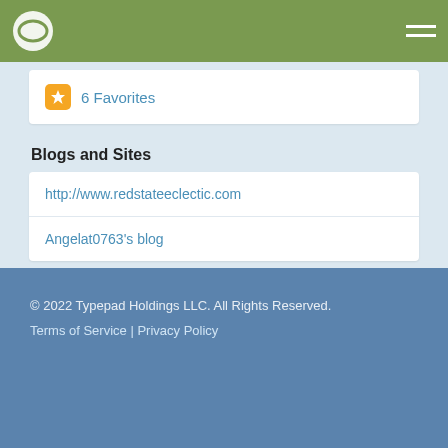Typepad navigation bar with logo and hamburger menu
⭐ 6 Favorites
Blogs and Sites
http://www.redstateeclectic.com
Angelat0763's blog
Around The Web
AngelaTC (Twitter)
http://www.redstateeclectic.com (profile)
© 2022 Typepad Holdings LLC. All Rights Reserved. Terms of Service | Privacy Policy